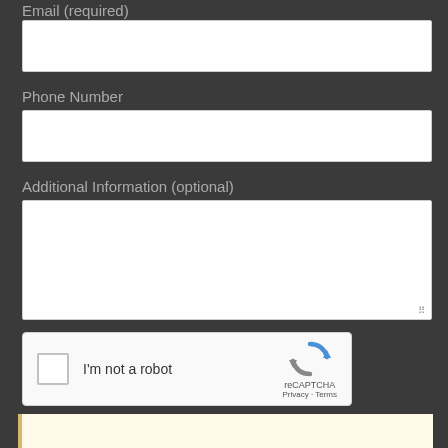Email (required)
[Figure (screenshot): Empty email input text field]
Phone Number
[Figure (screenshot): Empty phone number input text field]
Additional Information (optional)
[Figure (screenshot): Empty textarea for additional information with resize handle]
[Figure (screenshot): reCAPTCHA widget with checkbox and I'm not a robot label]
[Figure (screenshot): SUBMIT button]
[Figure (screenshot): Yellow notification bar at the bottom]